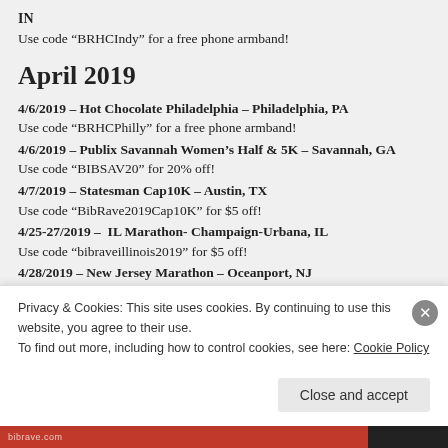IN
Use code “BRHCIndy” for a free phone armband!
April 2019
4/6/2019 – Hot Chocolate Philadelphia – Philadelphia, PA
Use code “BRHCPhilly” for a free phone armband!
4/6/2019 – Publix Savannah Women’s Half & 5K – Savannah, GA
Use code “BIBSAV20” for 20% off!
4/7/2019 – Statesman Cap10K – Austin, TX
Use code “BibRave2019Cap10K” for $5 off!
4/25-27/2019 –  IL Marathon- Champaign-Urbana, IL
Use code “bibraveillinois2019” for $5 off!
4/28/2019 – New Jersey Marathon – Oceanport, NJ
Use code “NJMBIBRAVE19” for $5 off any distance (5K,
Privacy & Cookies: This site uses cookies. By continuing to use this website, you agree to their use.
To find out more, including how to control cookies, see here: Cookie Policy
Close and accept